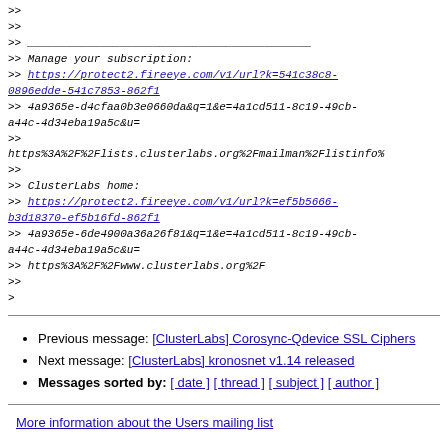>>
>>
>> ___________________________________________
>> Manage your subscription:
>> https://protect2.fireeye.com/v1/url?k=541c38c8-0896edde-541c7853-862f1
>> 4a9365e-d4cfaa0b3e0660da&q=1&e=4a1cd511-8c19-49cb-a44c-4d34eba19a5c&u=
>>
https%3A%2F%2Flists.clusterlabs.org%2Fmailman%2Flistinfo%
>>
>> ClusterLabs home:
>> https://protect2.fireeye.com/v1/url?k=ef5b5666-b3d18370-ef5b16fd-862f1
>> 4a9365e-6de4900a36a26f81&q=1&e=4a1cd511-8c19-49cb-a44c-4d34eba19a5c&u=
>> https%3A%2F%2Fwww.clusterlabs.org%2F
>>
>
Previous message: [ClusterLabs] Corosync-Qdevice SSL Ciphers
Next message: [ClusterLabs] kronosnet v1.14 released
Messages sorted by: [ date ] [ thread ] [ subject ] [ author ]
More information about the Users mailing list